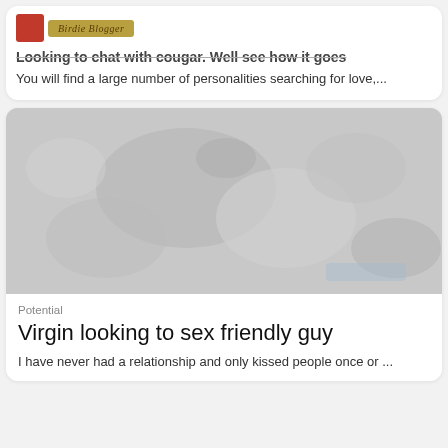[Figure (logo): Red and tan logo with stylized text]
Looking to chat with cougar. Well see how it goes
You will find a large number of personalities searching for love,...
[Figure (photo): Blurred grey close-up photograph of hands or skin]
Potential
Virgin looking to sex friendly guy
I have never had a relationship and only kissed people once or ...